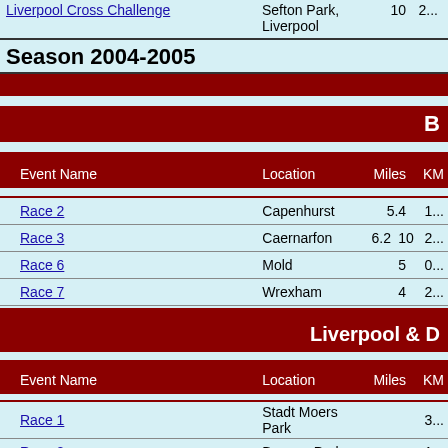Liverpool Cross Challenge | Sefton Park, Liverpool | 10 | 2...
Season 2004-2005
B...
| Event Name | Location | Miles | KM |
| --- | --- | --- | --- |
| Race 2 | Capenhurst | 5.4 | 1... |
| Race 3 | Caernarfon | 6.2 | 10 | 2... |
| Race 6 | Mold | 5 | 0... |
| Race 7 | Wrexham | 4 | 2... |
Liverpool & D...
| Event Name | Location | Miles | KM |
| --- | --- | --- | --- |
| Race 1 | Stadt Moers Park |  | 3... |
| Race 2 | Beacon Park |  | 1... |
| Race 3 | Sefton Park, Liverpool |  | 0... |
| Championships | Clarkes Garden |  | 0... |